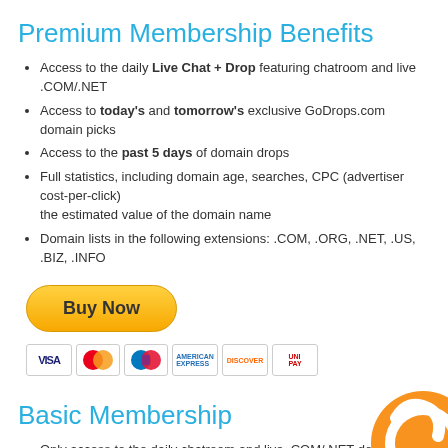Premium Membership Benefits
Access to the daily Live Chat + Drop featuring chatroom and live .COM/.NET
Access to today's and tomorrow's exclusive GoDrops.com domain picks
Access to the past 5 days of domain drops
Full statistics, including domain age, searches, CPC (advertiser cost-per-click) the estimated value of the domain name
Domain lists in the following extensions: .COM, .ORG, .NET, .US, .BIZ, .INFO
[Figure (other): Buy Now PayPal button with credit card icons (Visa, Mastercard, Maestro, Amex, Discover, UnionPay)]
Basic Membership
Only access to the daily chatroom and live .COM/.NET domain drop everyday PST
Basic membership registration is here
[Figure (logo): GoDrops logo (orange circular icon, partial, bottom right)]